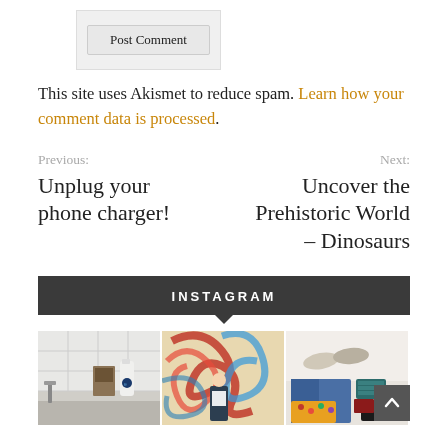Post Comment
This site uses Akismet to reduce spam. Learn how your comment data is processed.
Previous: Unplug your phone charger!
Next: Uncover the Prehistoric World – Dinosaurs
INSTAGRAM
[Figure (photo): Three Instagram photos side by side: bathroom with personal care products, person standing in front of colorful graffiti mural, flat lay of clothing and accessories]